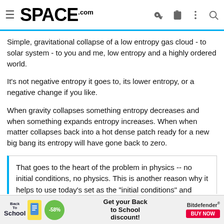SPACE.com
Simple, gravitational collapse of a low entropy gas cloud - to solar system - to you and me, low entropy and a highly ordered world.
It's not negative entropy it goes to, its lower entropy, or a negative change if you like.
When gravity collapses something entropy decreases and when something expands entropy increases. When when matter collapses back into a hot dense patch ready for a new big bang its entropy will have gone back to zero.
That goes to the heart of the problem in physics -- no initial conditions, no physics. This is another reason why it helps to use today's set as the "initial conditions" and work backwards till the "wheels fly off the wagon". 🙂
but we are in an eternal universe and there are no initial conditions
[Figure (infographic): Back to School advertisement banner with -58% discount and Bitdefender Buy Now button]